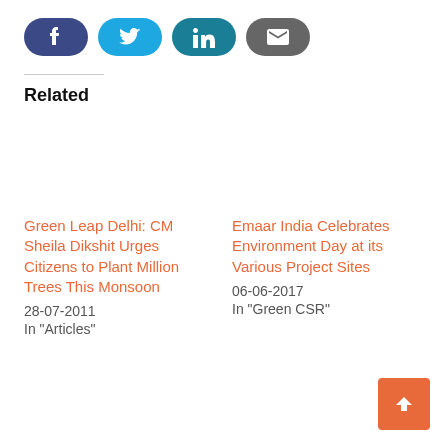[Figure (other): Social media share buttons: Facebook (dark blue), Twitter (cyan), LinkedIn (teal), Email (gray)]
Related
Green Leap Delhi: CM Sheila Dikshit Urges Citizens to Plant Million Trees This Monsoon
28-07-2011
In "Articles"
Emaar India Celebrates Environment Day at its Various Project Sites
06-06-2017
In "Green CSR"
[Figure (other): Scroll to top button with upward arrow, orange background]